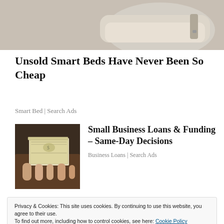[Figure (photo): Partial photo of a smart bed/mattress product, beige/tan colored, cropped at top of page]
Unsold Smart Beds Have Never Been So Cheap
Smart Bed | Search Ads
[Figure (photo): Hands holding a stack of US dollar bills, dark brown/warm background]
Small Business Loans & Funding – Same-Day Decisions
Business Loans | Search Ads
Privacy & Cookies: This site uses cookies. By continuing to use this website, you agree to their use.
To find out more, including how to control cookies, see here: Cookie Policy
[Close and accept]